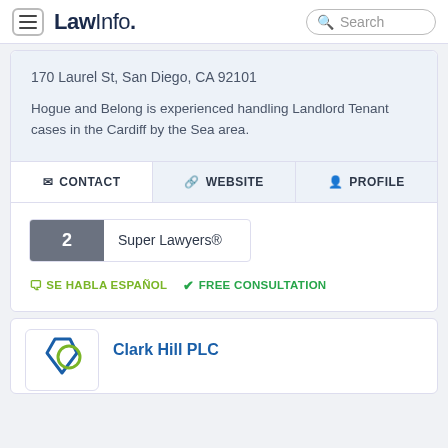LawInfo. — Search
170 Laurel St, San Diego, CA 92101
Hogue and Belong is experienced handling Landlord Tenant cases in the Cardiff by the Sea area.
CONTACT
WEBSITE
PROFILE
2 Super Lawyers®
SE HABLA ESPAÑOL   ✓ FREE CONSULTATION
[Figure (logo): Law firm logo with diamond/gem shapes in blue and green]